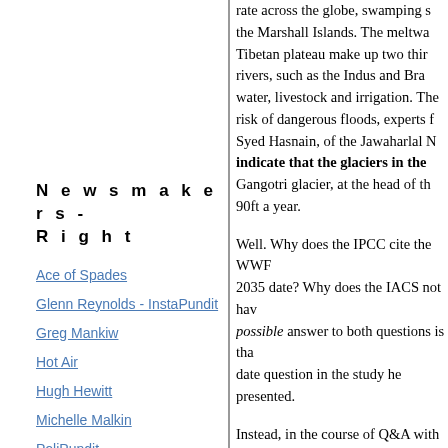rate across the globe, swamping the Marshall Islands. The meltwater from Tibetan plateau make up two thirds of rivers, such as the Indus and Brahmaputra water, livestock and irrigation. The risk of dangerous floods, experts have Syed Hasnain, of the Jawaharlal Nehru indicate that the glaciers in the Gangotri glacier, at the head of the 90ft a year.
Well. Why does the IPCC cite the WWF 2035 date? Why does the IACS not have possible answer to both questions is that date question in the study he presented.
Instead, in the course of Q&A with reporters studies, presumably the Kotlyakov study muddled the dates. The WWF relied on the WWF (Willfully or not? Make the call the New Scientist piece dated as of June papers; the reporter may have seen a rough Hasnain.
As to what Kotlyakov wrote, here we go
N e w s m a k e r s - R i g h t
Ace of Spades
Glenn Reynolds - InstaPundit
Greg Mankiw
Hot Air
Hugh Hewitt
Michelle Malkin
PoliPundit
Powerline
Red State
Roger Simon
Taegan Goddard's Political Wire